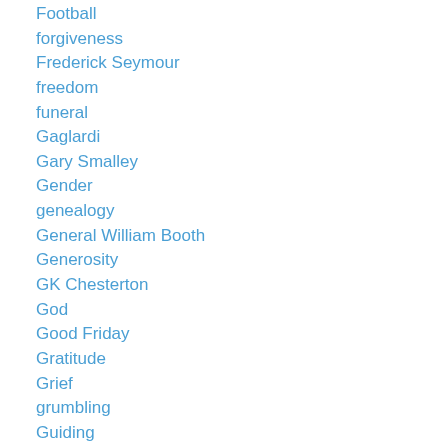Football
forgiveness
Frederick Seymour
freedom
funeral
Gaglardi
Gary Smalley
Gender
genealogy
General William Booth
Generosity
GK Chesterton
God
Good Friday
Gratitude
Grief
grumbling
Guiding
gym
Handel